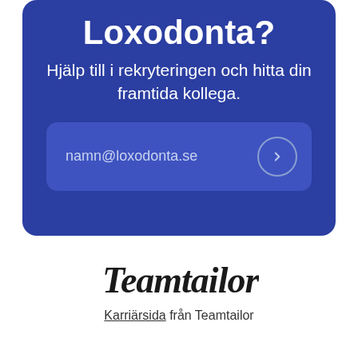Loxodonta?
Hjälp till i rekryteringen och hitta din framtida kollega.
namn@loxodonta.se
[Figure (logo): Teamtailor logo in italic script font]
Karriärsida från Teamtailor